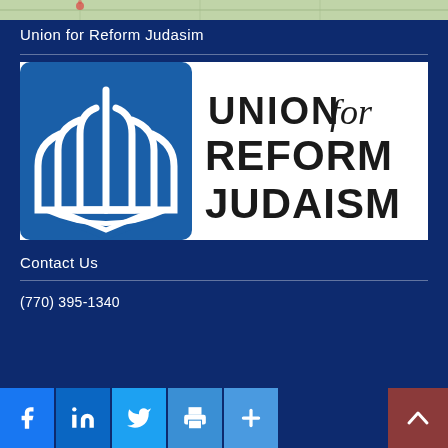[Figure (map): Partial map strip visible at the top of the page]
Union for Reform Judasim
[Figure (logo): Union for Reform Judaism logo — menorah icon on blue square background on the left, text 'UNION for REFORM JUDAISM' on the right in bold black and italic script]
Contact Us
(770) 395-1340